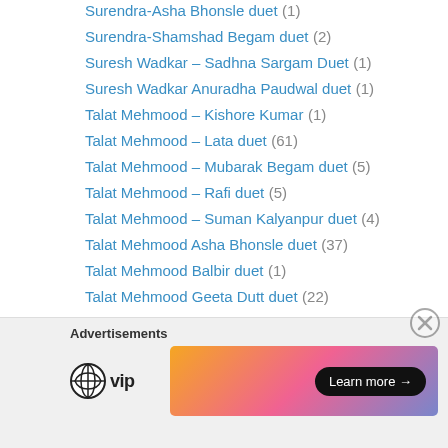Surendra-Asha Bhonsle duet (1)
Surendra-Shamshad Begam duet (2)
Suresh Wadkar – Sadhna Sargam Duet (1)
Suresh Wadkar Anuradha Paudwal duet (1)
Talat Mehmood – Kishore Kumar (1)
Talat Mehmood – Lata duet (61)
Talat Mehmood – Mubarak Begam duet (5)
Talat Mehmood – Rafi duet (5)
Talat Mehmood – Suman Kalyanpur duet (4)
Talat Mehmood Asha Bhonsle duet (37)
Talat Mehmood Balbir duet (1)
Talat Mehmood Geeta Dutt duet (22)
Talat Mehmood Madhubala Jhaveri duet (6)
Talat Mehmood Mukesh duet (1)
Talat Mehmood Sudha Malhotra duet (7)
Talat Mehmood Sulochana Kadam duet (1)
Talat Mehmood-Rajkumari duet (2)
[Figure (screenshot): Advertisement section with WordPress VIP logo and a colorful gradient banner with a 'Learn more' button]